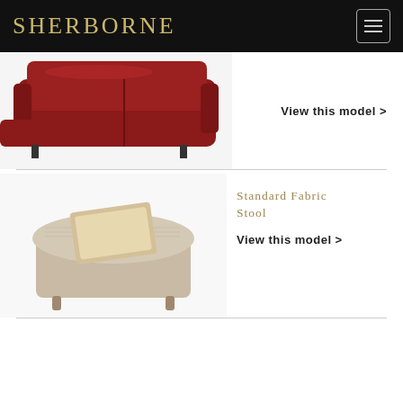Sherborne
[Figure (photo): Partial view of a red leather recliner sofa with footrest extended]
View this model >
[Figure (photo): Standard Fabric Stool – a square upholstered stool in light grey-beige tweed fabric with a decorative item on top]
Standard Fabric Stool
View this model >
[Figure (photo): Standard Leather Stool – a square upholstered stool in tan/brown leather with a book on top]
Standard Leather Stool
View this model >